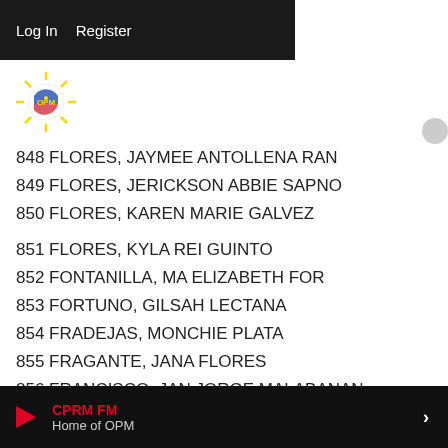Log In   Register
[Figure (logo): OPM Philippine sun logo with red, blue, yellow colors]
848 FLORES, JAYMEE ANTOLLENA RAN
849 FLORES, JERICKSON ABBIE SAPNO
850 FLORES, KAREN MARIE GALVEZ
851 FLORES, KYLA REI GUINTO
852 FONTANILLA, MA ELIZABETH FOR
853 FORTUNO, GILSAH LECTANA
854 FRADEJAS, MONCHIE PLATA
855 FRAGANTE, JANA FLORES
856 FRANCISCO, JAN JORGE MALABANAN
857 FRANCISCO, JOEMEL DY
858 FRANCISCO, MA NOELLA MAGBANUA
859 FRANCISCO, MARK DAVID DE GUZMAN
HOME
ABOUT US
CPRM FM Home of OPM